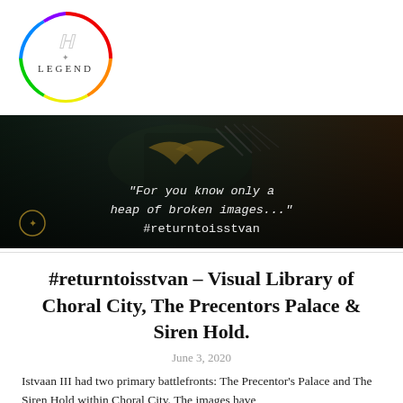[Figure (logo): Circular rainbow-bordered logo with stylized letters and the word LEGEND]
[Figure (photo): Dark banner image showing armored warrior figures with the text: "For you know only a heap of broken images..." #returntoisstvan, with a small circular icon in the lower left]
#returntoisstvan – Visual Library of Choral City, The Precentors Palace & Siren Hold.
June 3, 2020
Istvaan III had two primary battlefronts: The Precentor's Palace and The Siren Hold within Choral City. The images have